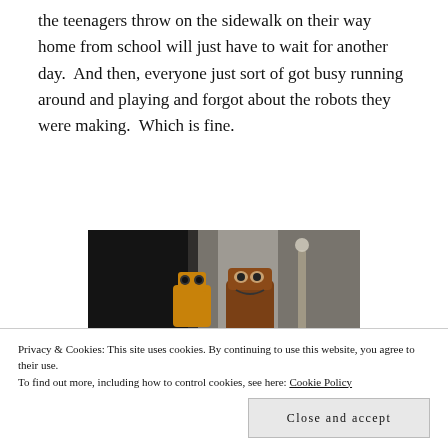the teenagers throw on the sidewalk on their way home from school will just have to wait for another day.  And then, everyone just sort of got busy running around and playing and forgot about the robots they were making.  Which is fine.
[Figure (photo): A blurry photo showing toy robot figurines, appearing to be WALL-E and Mater-like characters, on a surface with a blurred background.]
Privacy & Cookies: This site uses cookies. By continuing to use this website, you agree to their use.
To find out more, including how to control cookies, see here: Cookie Policy